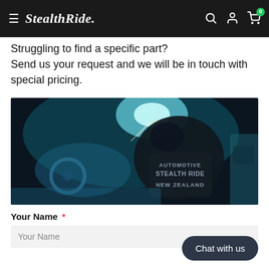StealthRide. (navigation bar with hamburger menu, logo, search, account, and cart icons)
Struggling to find a specific part?
Send us your request and we will be in touch with special pricing.
[Figure (photo): A person in a black jacket labeled 'AUTOMOTIVE STEALTH RIDE NEW ZEALAND' welding on a car interior, illuminated by blue workshop lighting with sparks flying.]
Your Name *
Your Name (input field placeholder)